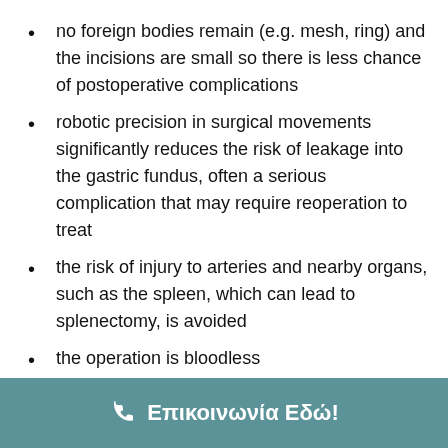no foreign bodies remain (e.g. mesh, ring) and the incisions are small so there is less chance of postoperative complications
robotic precision in surgical movements significantly reduces the risk of leakage into the gastric fundus, often a serious complication that may require reoperation to treat
the risk of injury to arteries and nearby organs, such as the spleen, which can lead to splenectomy, is avoided
the operation is bloodless
postoperative pain is minimal
the stay of the patient in the hospital is shorter
Επικοινωνία Εδώ!